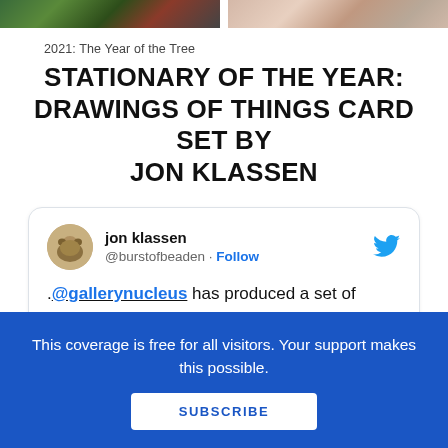[Figure (photo): Two partial images at the top of the page — left shows a green/dark illustrated scene, right shows a colorful illustrated scene]
2021: The Year of the Tree
STATIONARY OF THE YEAR: DRAWINGS OF THINGS CARD SET BY JON KLASSEN
[Figure (screenshot): Embedded tweet from jon klassen (@burstofbeaden) with Follow button and Twitter bird icon. Tweet text: '.@gallerynucleus has produced a set of postcards of the drawings I did for a recent show. There are two boots on']
This coverage is free for all visitors. Your support makes this possible.
SUBSCRIBE